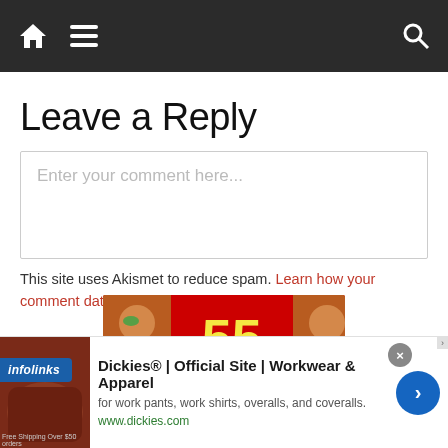Navigation bar with home, menu, and search icons
Leave a Reply
Enter your comment here...
This site uses Akismet to reduce spam. Learn how your comment data is processed.
[Figure (advertisement): 55 DIARIES ad banner with two wrestlers on red background]
[Figure (advertisement): Infolinks badge overlay on bottom-left of ad]
[Figure (advertisement): Dickies Official Site Workwear & Apparel bottom ad with brown leather sofa image, close button, and arrow button]